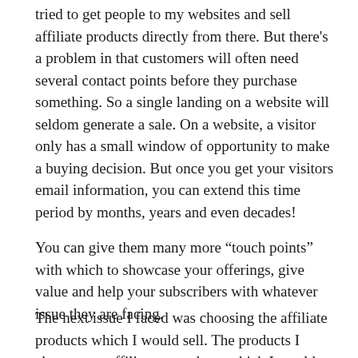tried to get people to my websites and sell affiliate products directly from there. But there's a problem in that customers will often need several contact points before they purchase something. So a single landing on a website will seldom generate a sale. On a website, a visitor only has a small window of opportunity to make a buying decision. But once you get your visitors email information, you can extend this time period by months, years and even decades!
You can give them many more “touch points” with which to showcase your offerings, give value and help your subscribers with whatever issue they are facing.
The next issue I faced was choosing the affiliate products which I would sell. The products I chose as an affiliate were those which I would have bought myself. This is a good policy because you can more easily create